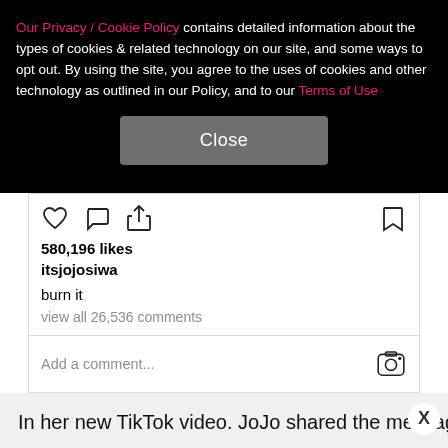Our Privacy / Cookie Policy contains detailed information about the types of cookies & related technology on our site, and some ways to opt out. By using the site, you agree to the uses of cookies and other technology as outlined in our Policy, and to our Terms of Use
Close
580,196 likes
itsjojosiwa
burn it
view all 26,536 comments
Add a comment...
In her new TikTok video. JoJo shared the message. S
NEXT →
on Newz Online